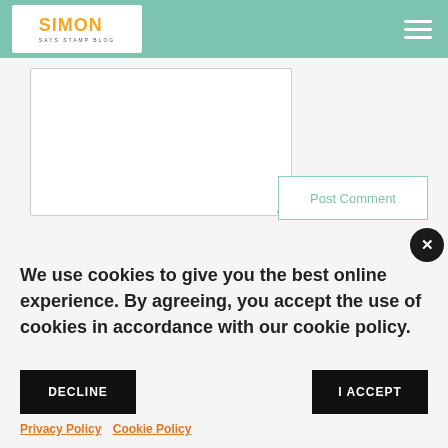Simon Says Stamp Blog
[Figure (screenshot): Comment textarea input box]
[Figure (screenshot): Post Comment button]
[Figure (screenshot): Close (X) button]
We use cookies to give you the best online experience. By agreeing, you accept the use of cookies in accordance with our cookie policy.
DECLINE
I ACCEPT
Privacy Policy   Cookie Policy